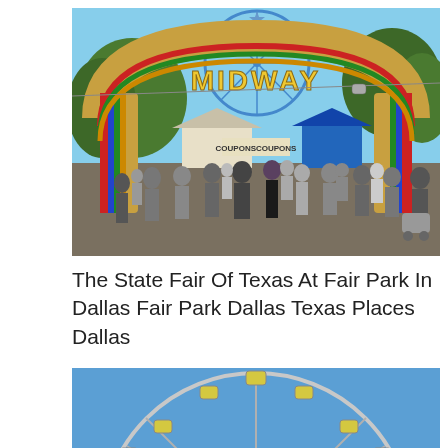[Figure (photo): Photo of the Midway arch entrance at the State Fair of Texas at Fair Park in Dallas. A large colorful arch with 'MIDWAY' in bright letters spans the walkway. A Ferris wheel and blue sky visible in the background, crowds of people walking underneath.]
The State Fair Of Texas At Fair Park In Dallas Fair Park Dallas Texas Places Dallas
[Figure (photo): Close-up photo of a Ferris wheel against a bright blue sky, showing the gondola cars and metal spokes of the wheel.]